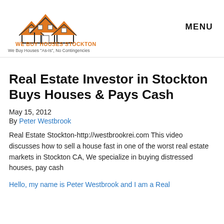[Figure (logo): We Buy Houses Stockton logo with orange house rooftops and text 'WE BUY HOUSES STOCKTON' and tagline 'We Buy Houses "As-Is", No Contingencies']
MENU
Real Estate Investor in Stockton Buys Houses & Pays Cash
May 15, 2012
By Peter Westbrook
Real Estate Stockton-http://westbrookrei.com This video discusses how to sell a house fast in one of the worst real estate markets in Stockton CA, We specialize in buying distressed houses, pay cash
Hello, my name is Peter Westbrook and I am a Real